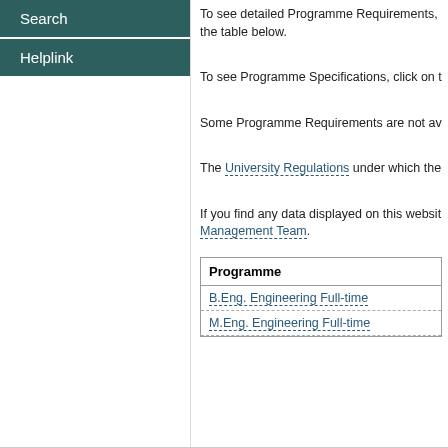Search
Helplink
To see detailed Programme Requirements, the table below.
To see Programme Specifications, click on t
Some Programme Requirements are not av
The University Regulations under which the
If you find any data displayed on this websit Management Team.
| Programme |
| --- |
| B.Eng. Engineering Full-time |
| M.Eng. Engineering Full-time |